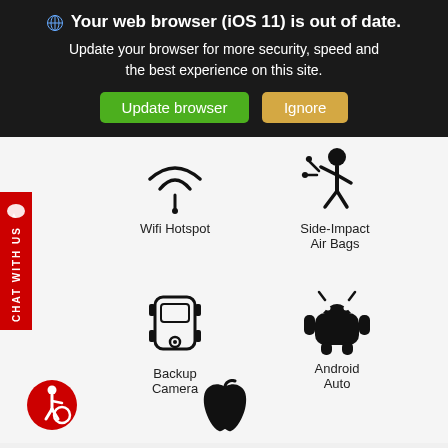[Figure (screenshot): Browser update notification banner with dark background, showing 'Your web browser (iOS 11) is out of date.' message with Update browser (green) and Ignore (tan) buttons.]
[Figure (infographic): Car feature icons grid showing: Wifi Hotspot (radio waves icon), Side-Impact Air Bags (crash dummy icon), Backup Camera (car icon), Android Auto (android robot icon), and partial Apple icon at bottom.]
[Figure (infographic): Accessibility badge (wheelchair icon in red circle) at bottom left. Red CHAT WITH US vertical tab on left side.]